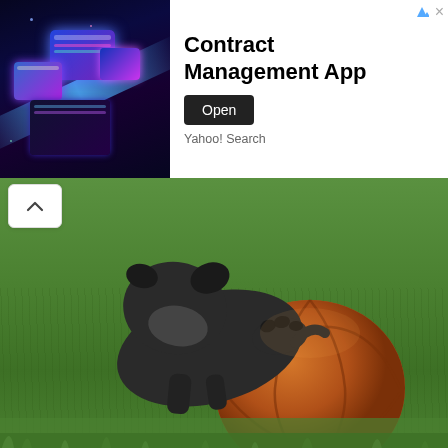[Figure (other): Advertisement banner for Contract Management App with Yahoo! Search branding, showing glowing digital screens on dark background with an 'Open' button]
[Figure (photo): A dark-colored French bulldog playing with a large basketball on green grass, viewed from the side/rear angle]
The French bulldog weighs between 16 and 28lbs and stands between 11" to 1' at the shoulder. Although this is a small breed, the Frenchie is quite solidly built but requires a regular exercise routine to avoid obesity.
Male French Bulldogs are generally heavier and have larger heads than females, but they are not always taller.
Lifespan
The average lifespan of this small friendly dog is between 11 and 14